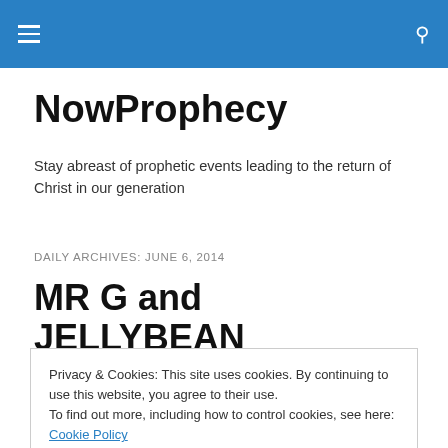NowProphecy — navigation bar
NowProphecy
Stay abreast of prophetic events leading to the return of Christ in our generation
DAILY ARCHIVES: JUNE 6, 2014
MR G and JELLYBEAN
Privacy & Cookies: This site uses cookies. By continuing to use this website, you agree to their use.
To find out more, including how to control cookies, see here: Cookie Policy